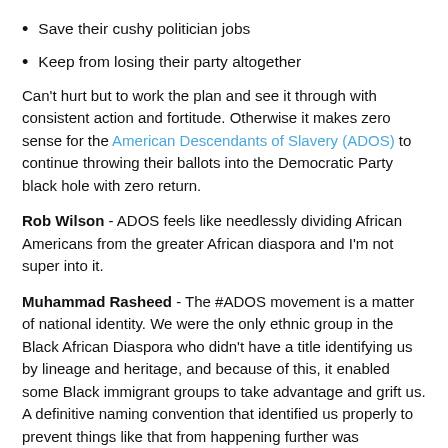Save their cushy politician jobs
Keep from losing their party altogether
Can't hurt but to work the plan and see it through with consistent action and fortitude. Otherwise it makes zero sense for the American Descendants of Slavery (ADOS) to continue throwing their ballots into the Democratic Party black hole with zero return.
Rob Wilson - ADOS feels like needlessly dividing African Americans from the greater African diaspora and I'm not super into it.
Muhammad Rasheed - The #ADOS movement is a matter of national identity. We were the only ethnic group in the Black African Diaspora who didn't have a title identifying us by lineage and heritage, and because of this, it enabled some Black immigrant groups to take advantage and grift us. A definitive naming convention that identified us properly to prevent things like that from happening further was